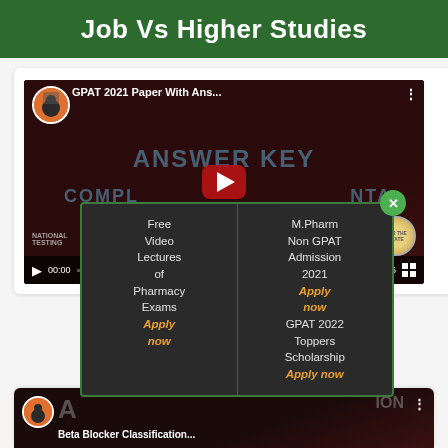Job Vs Higher Studies
[Figure (screenshot): YouTube video thumbnail showing GPAT 2021 Paper With Answer Key, with ANSWER KEY COMPLETE NTA text overlay and video controls showing 52:56 duration]
[Figure (screenshot): Popup overlay with two columns: left column shows 'Free Video Lectures of Pharmacy Exams Apply now' and right column shows 'M.Pharm Non GPAT Admission 2021 Apply now GPAT 2022 Toppers Scholarship Apply now' with a green X close button]
[Figure (screenshot): Partially visible YouTube video thumbnail showing Beta Blocker Classification video from Tutor Box channel]